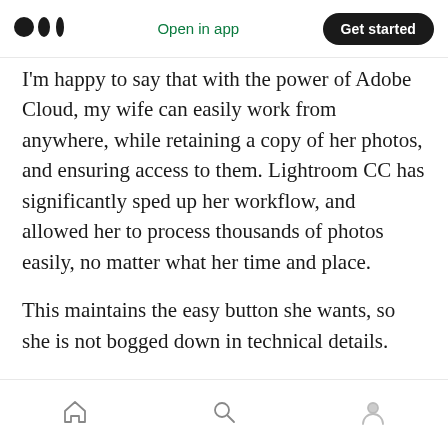Medium app header with logo, Open in app link, and Get started button
I'm happy to say that with the power of Adobe Cloud, my wife can easily work from anywhere, while retaining a copy of her photos, and ensuring access to them. Lightroom CC has significantly sped up her workflow, and allowed her to process thousands of photos easily, no matter what her time and place.
This maintains the easy button she wants, so she is not bogged down in technical details.
Her workflow looks like this:
Bottom navigation bar with home, search, and profile icons